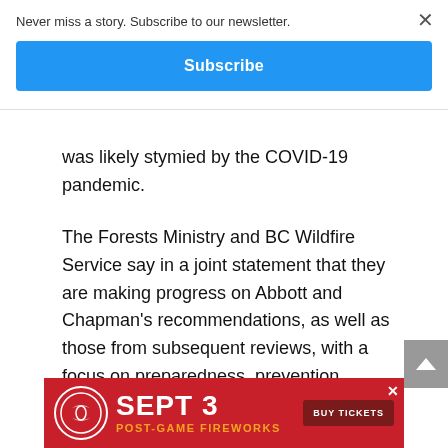Never miss a story. Subscribe to our newsletter.
Subscribe
was likely stymied by the COVID-19 pandemic.
The Forests Ministry and BC Wildfire Service say in a joint statement that they are making progress on Abbott and Chapman's recommendations, as well as those from subsequent reviews, with a focus on preparedness, prevention, mitigation and response.
[Figure (infographic): Advertisement banner: SEPT 3 POST-GAME FIREWORKS with BUY TICKETS button and team logo]
Amo